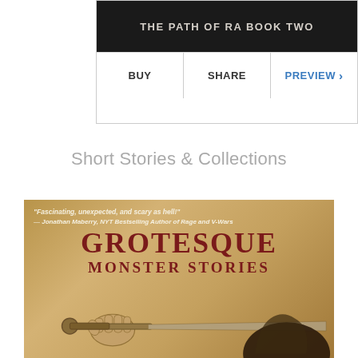[Figure (screenshot): Book card for 'The Path of Ra Book Two' with dark background showing title text, with BUY, SHARE, and PREVIEW action buttons below]
Short Stories & Collections
[Figure (illustration): Book cover for 'Grotesque Monster Stories' featuring a quote from Jonathan Maberry 'Fascinating, unexpected, and scary as hell!' and an illustration of a hand holding a sword over a figure's head, on a parchment-colored background]